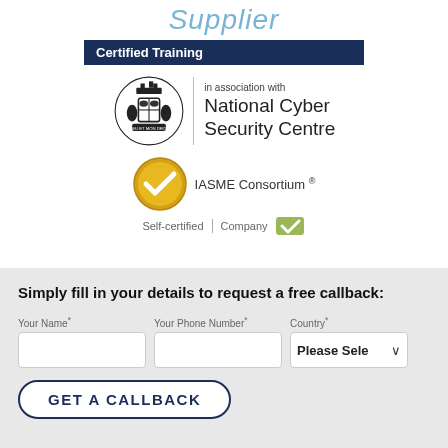Supplier
Certified Training
[Figure (logo): National Cyber Security Centre logo with UK coat of arms and text 'in association with National Cyber Security Centre']
[Figure (logo): IASME Consortium gold badge with checkmark, Self-certified Company verified badge]
Simply fill in your details to request a free callback:
Your Name* Your Phone Number* Country*
GET A CALLBACK